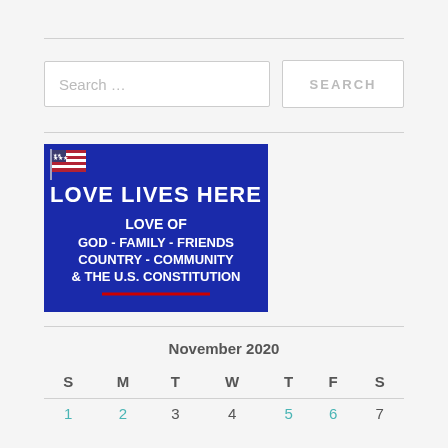Search …
[Figure (illustration): Blue rectangular image with American flag graphic and bold white text reading 'LOVE LIVES HERE' at top, followed by 'LOVE OF / GOD - FAMILY - FRIENDS / COUNTRY - COMMUNITY / & THE U.S. CONSTITUTION' with a red underline at the bottom.]
November 2020
| S | M | T | W | T | F | S |
| --- | --- | --- | --- | --- | --- | --- |
| 1 | 2 | 3 | 4 | 5 | 6 | 7 |